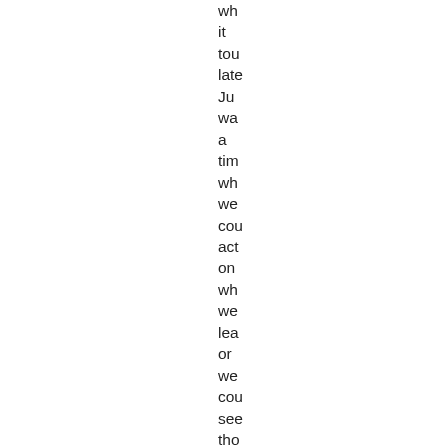wh it tou late Ju wa a tim wh we cou act on wh we lea or we cou see tho Sa in Vin iss